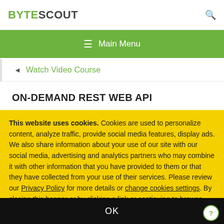BYTESCOUT
Watch Video Course
ON-DEMAND REST WEB API
This website uses cookies. Cookies are used to personalize content, analyze traffic, provide social media features, display ads. We also share information about your use of our site with our social media, advertising and analytics partners who may combine it with other information that you have provided to them or that they have collected from your use of their services. Please review our Privacy Policy for more details or change cookies settings. By closing this banner or by clicking a link or continuing to browse otherwise, you consent to our cookies.
OK